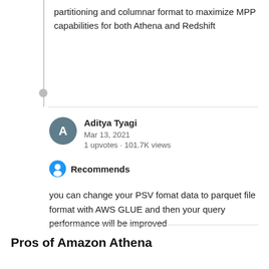partitioning and columnar format to maximize MPP capabilities for both Athena and Redshift
Aditya Tyagi
Mar 13, 2021
1 upvotes · 101.7K views
Recommends
you can change your PSV fomat data to parquet file format with AWS GLUE and then your query performance will be improved
Pros of Amazon Athena